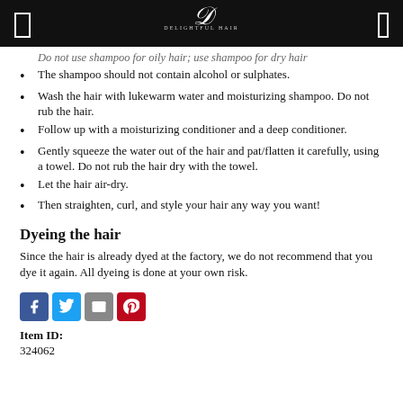Delightful Hair
Do not use shampoo for oily hair; use shampoo for dry hair
The shampoo should not contain alcohol or sulphates.
Wash the hair with lukewarm water and moisturizing shampoo. Do not rub the hair.
Follow up with a moisturizing conditioner and a deep conditioner.
Gently squeeze the water out of the hair and pat/flatten it carefully, using a towel. Do not rub the hair dry with the towel.
Let the hair air-dry.
Then straighten, curl, and style your hair any way you want!
Dyeing the hair
Since the hair is already dyed at the factory, we do not recommend that you dye it again. All dyeing is done at your own risk.
[Figure (infographic): Social sharing icons: Facebook, Twitter, Email, Pinterest]
Item ID: 324062